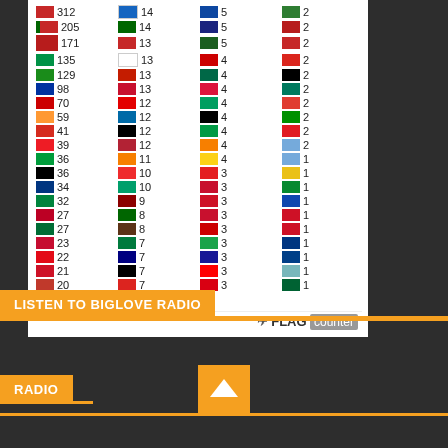[Figure (table-as-image): Flag counter widget showing country flags with visitor counts in a 4-column grid. Countries include entries with values ranging from 312 down to 1. Pageviews total: 23,608. FLAG counter logo at bottom right.]
Pageviews: 23,608
LISTEN TO BIGLOVE RADIO
RADIO